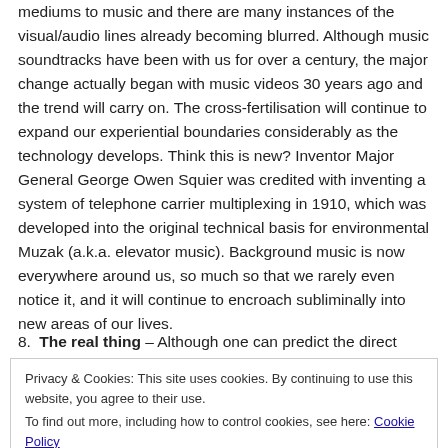mediums to music and there are many instances of the visual/audio lines already becoming blurred. Although music soundtracks have been with us for over a century, the major change actually began with music videos 30 years ago and the trend will carry on. The cross-fertilisation will continue to expand our experiential boundaries considerably as the technology develops. Think this is new? Inventor Major General George Owen Squier was credited with inventing a system of telephone carrier multiplexing in 1910, which was developed into the original technical basis for environmental Muzak (a.k.a. elevator music). Background music is now everywhere around us, so much so that we rarely even notice it, and it will continue to encroach subliminally into new areas of our lives.
8. The real thing – Although one can predict the direct physical
Privacy & Cookies: This site uses cookies. By continuing to use this website, you agree to their use.
To find out more, including how to control cookies, see here: Cookie Policy
Close and accept
Glastonbury without the rain, mud, tents, food, jostling to be